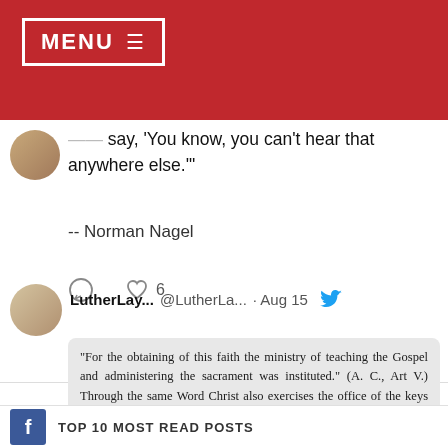MENU ≡
"When you go to church, you should leave and say, 'You know, you can't hear that anywhere else.'"
-- Norman Nagel
LutherLay... @LutheranLa... · Aug 15
[Figure (screenshot): A screenshot of a book excerpt about the office of ministry, faith, and the Word, with a bracketed passage about the ministry being the office of the Word.]